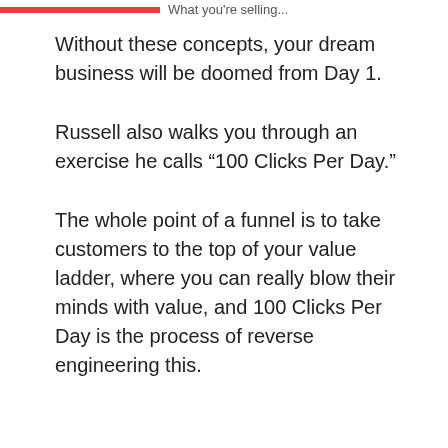What you're selling...
Without these concepts, your dream business will be doomed from Day 1.
Russell also walks you through an exercise he calls “100 Clicks Per Day.”
The whole point of a funnel is to take customers to the top of your value ladder, where you can really blow their minds with value, and 100 Clicks Per Day is the process of reverse engineering this.